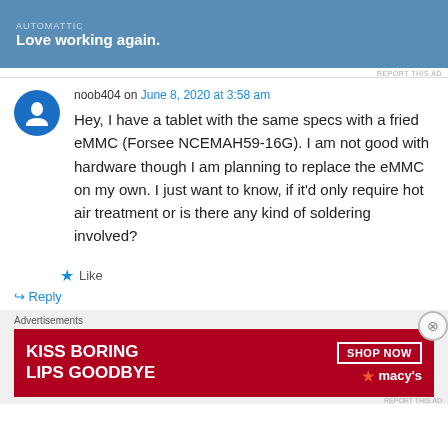[Figure (other): Automattic advertisement banner with text 'Love working again.' on blue background]
noob404 on June 8, 2020 at 3:58 am
Hey, I have a tablet with the same specs with a fried eMMC (Forsee NCEMAH59-16G). I am not good with hardware though I am planning to replace the eMMC on my own. I just want to know, if it'd only require hot air treatment or is there any kind of soldering involved?
Like
Reply
Advertisements
[Figure (other): Macy's advertisement banner: 'KISS BORING LIPS GOODBYE' with SHOP NOW button and Macy's logo on red background]